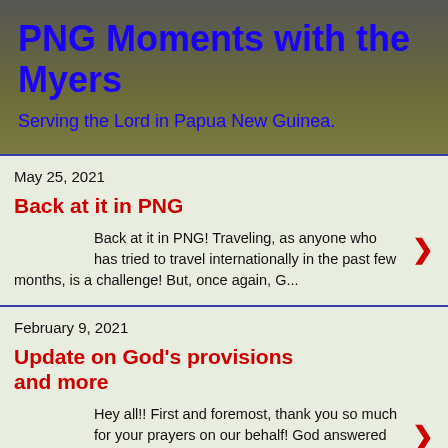PNG Moments with the Myers
Serving the Lord in Papua New Guinea.
May 25, 2021
Back at it in PNG
Back at it in PNG!  Traveling, as anyone who has tried to travel internationally in the past few months, is a challenge!  But, once again, G...
February 9, 2021
Update on God's provisions and more
Hey all!! First and foremost, thank you so much for your prayers on our behalf!  God answered our prayers for safe travel!!  We left PNG on t...